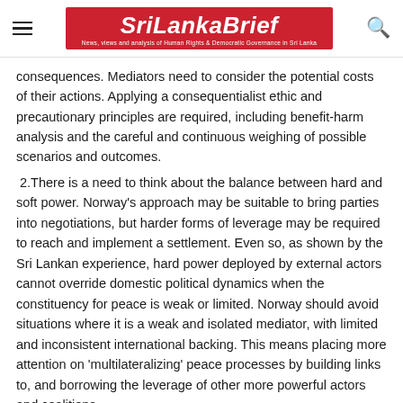SriLankaBrief — News, views and analysis of Human Rights & Democratic Governance in Sri Lanka
consequences. Mediators need to consider the potential costs of their actions. Applying a consequentialist ethic and precautionary principles are required, including benefit-harm analysis and the careful and continuous weighing of possible scenarios and outcomes.
2. There is a need to think about the balance between hard and soft power. Norway's approach may be suitable to bring parties into negotiations, but harder forms of leverage may be required to reach and implement a settlement. Even so, as shown by the Sri Lankan experience, hard power deployed by external actors cannot override domestic political dynamics when the constituency for peace is weak or limited. Norway should avoid situations where it is a weak and isolated mediator, with limited and inconsistent international backing. This means placing more attention on 'multilateralizing' peace processes by building links to, and borrowing the leverage of other more powerful actors and coalitions.